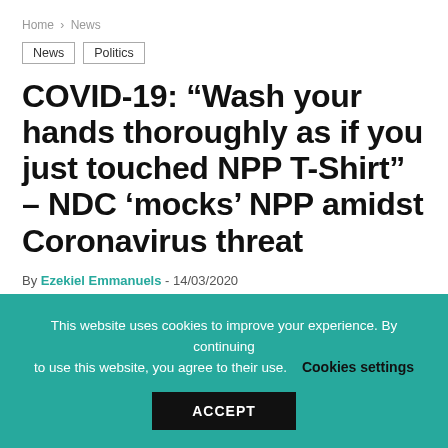Home > News
News | Politics
COVID-19: “Wash your hands thoroughly as if you just touched NPP T-Shirt” – NDC ‘mocks’ NPP amidst Coronavirus threat
By Ezekiel Emmanuels - 14/03/2020
This website uses cookies to improve your experience. By continuing to use this website, you agree to their use. Cookies settings ACCEPT